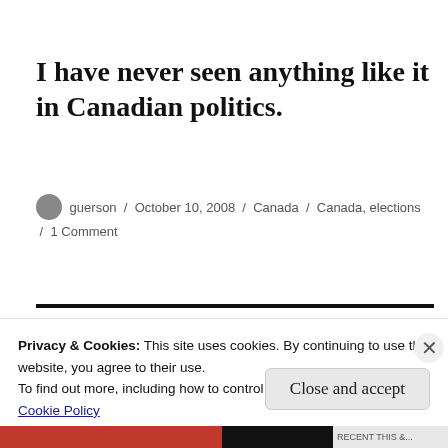I have never seen anything like it in Canadian politics.
guerson / October 10, 2008 / Canada / Canada, elections / 1 Comment
Privacy & Cookies: This site uses cookies. By continuing to use this website, you agree to their use.
To find out more, including how to control cookies, see here:
Cookie Policy
Close and accept